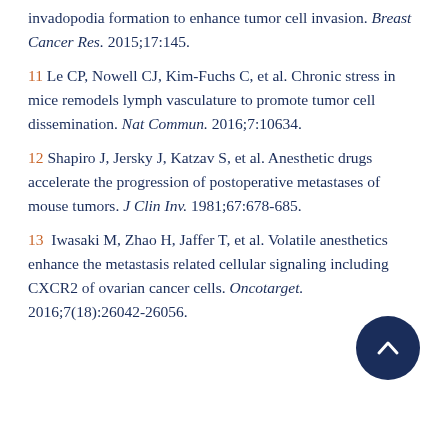invadopodia formation to enhance tumor cell invasion. Breast Cancer Res. 2015;17:145.
11 Le CP, Nowell CJ, Kim-Fuchs C, et al. Chronic stress in mice remodels lymph vasculature to promote tumor cell dissemination. Nat Commun. 2016;7:10634.
12 Shapiro J, Jersky J, Katzav S, et al. Anesthetic drugs accelerate the progression of postoperative metastases of mouse tumors. J Clin Inv. 1981;67:678-685.
13 Iwasaki M, Zhao H, Jaffer T, et al. Volatile anesthetics enhance the metastasis related cellular signaling including CXCR2 of ovarian cancer cells. Oncotarget. 2016;7(18):26042-26056.